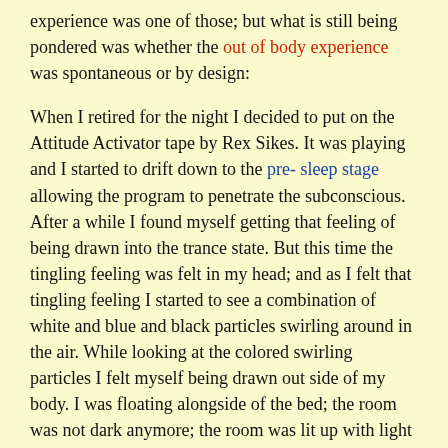experience was one of those; but what is still being pondered was whether the out of body experience was spontaneous or by design:
When I retired for the night I decided to put on the Attitude Activator tape by Rex Sikes. It was playing and I started to drift down to the pre- sleep stage allowing the program to penetrate the subconscious. After a while I found myself getting that feeling of being drawn into the trance state. But this time the tingling feeling was felt in my head; and as I felt that tingling feeling I started to see a combination of white and blue and black particles swirling around in the air. While looking at the colored swirling particles I felt myself being drawn out side of my body.  I was floating alongside of the bed; the room was not dark anymore; the room was lit up with light illuminating from my floating body. From the point where I was floating, I held my arm straight and pointed it at the drapes that are dividing my room into two parts. When I pointed my arm at the drapes the drapes parted and opened up on command. Then I did the same thing with the closet and opened the closet doors. Then I